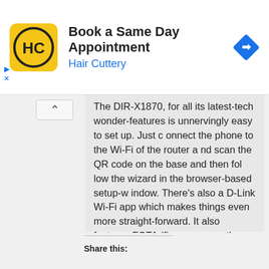[Figure (other): Hair Cuttery advertisement banner with yellow logo showing HC initials, text 'Book a Same Day Appointment' and 'Hair Cuttery' in blue, and a blue navigation arrow diamond icon.]
The DIR-X1870, for all its latest-tech wonder-features is unnervingly easy to set up. Just connect the phone to the Wi-Fi of the router and scan the QR code on the base and then follow the wizard in the browser-based setup-window. There's also a D-Link Wi-Fi app which makes things even more straight-forward. It also features FOTA (firmware over the air) – it will automatically check daily for updates to make sure that the device is always have the latest features with the most secure firmware. They install updates silently in the background, with failsafe backups used to ensure a smooth and uninterrupted experience.
Share this: